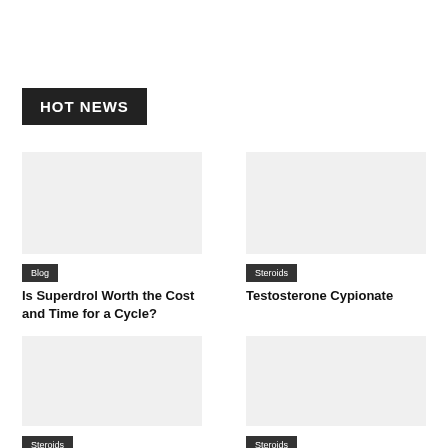HOT NEWS
[Figure (other): Placeholder image for Blog article]
Blog
Is Superdrol Worth the Cost and Time for a Cycle?
[Figure (other): Placeholder image for Steroids article]
Steroids
Testosterone Cypionate
[Figure (other): Placeholder image bottom left]
Steroids
[Figure (other): Placeholder image bottom right]
Steroids